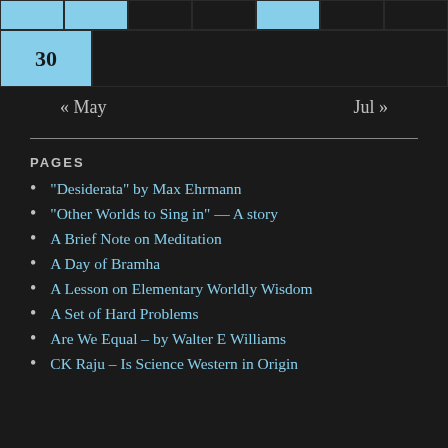|  |  |  |  |  |  |  |
| 30 |  |  |  |  |  |  |
« May    Jul »
PAGES
“Desiderata” by Max Ehrmann
“Other Worlds to Sing in” — A story
A Brief Note on Meditation
A Day of Bramha
A Lesson on Elementary Worldly Wisdom
A Set of Hard Problems
Are We Equal – by Walter E Williams
CK Raju – Is Science Western in Origin